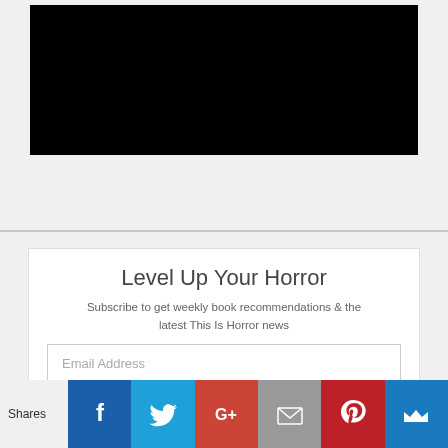[Figure (other): Black rectangle representing a video or image embed area]
Level Up Your Horror
Subscribe to get weekly book recommendations & the latest This Is Horror news
Email Address
Subscribe
Shares